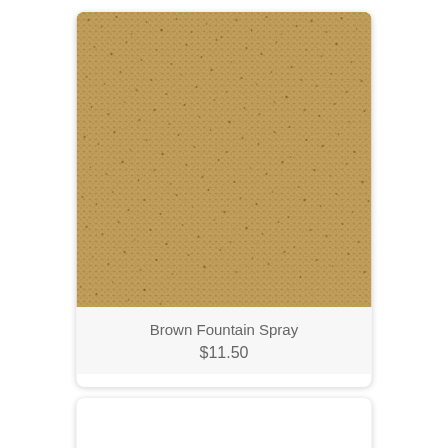[Figure (photo): Close-up texture of a tan/beige fabric with a small speckled fountain spray pattern, showing a dense irregular dot pattern in brown tones on a sandy/khaki background.]
Brown Fountain Spray
$11.50